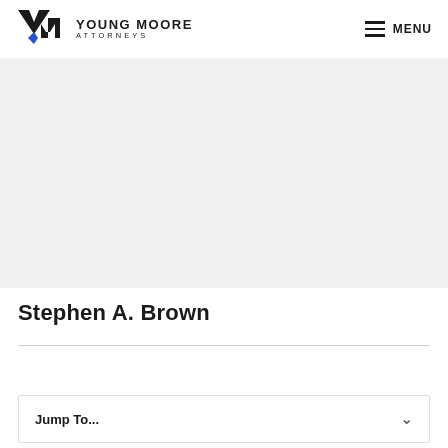Young Moore Attorneys | MENU
[Figure (photo): Gray placeholder area for attorney photo of Stephen A. Brown]
Stephen A. Brown
Jump To...